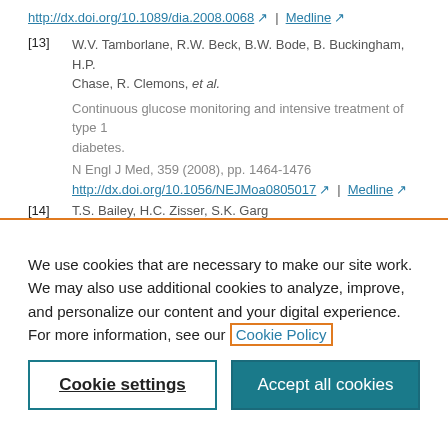http://dx.doi.org/10.1089/dia.2008.0068 | Medline
[13] W.V. Tamborlane, R.W. Beck, B.W. Bode, B. Buckingham, H.P. Chase, R. Clemons, et al. Continuous glucose monitoring and intensive treatment of type 1 diabetes. N Engl J Med, 359 (2008), pp. 1464-1476. http://dx.doi.org/10.1056/NEJMoa0805017 | Medline
[14] T.S. Bailey, H.C. Zisser, S.K. Garg
We use cookies that are necessary to make our site work. We may also use additional cookies to analyze, improve, and personalize our content and your digital experience. For more information, see our Cookie Policy
Cookie settings
Accept all cookies